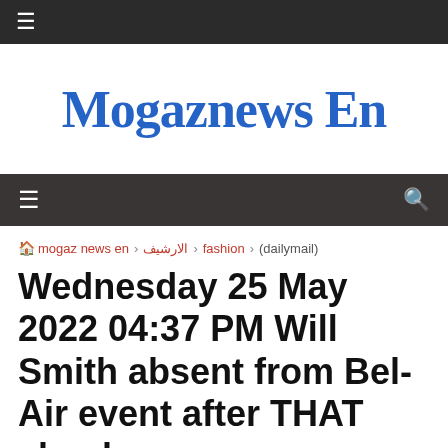≡
Mogaznews En
≡  🔍
🏠 mogaz news en › الارشيف › fashion › (dailymail)
Wednesday 25 May 2022 04:37 PM Will Smith absent from Bel-Air event after THAT shock